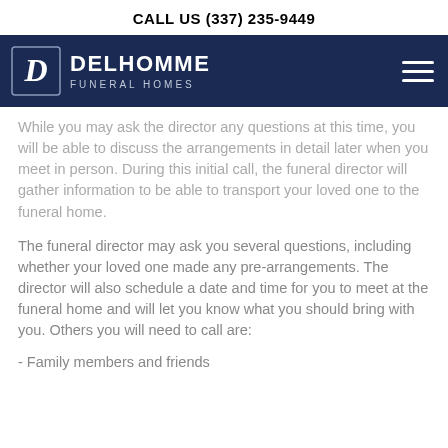CALL US (337) 235-9449
[Figure (logo): Delhomme Funeral Homes logo with dark navy navigation bar containing the company logo on the left and a hamburger menu icon on the right]
While you may ask the director any questions at this time, you will be able to discuss the arrangements in detail later when you meet in person. During this initial call, the funeral director will gather information to be able to transport your loved one to the funeral home.
The funeral director may ask you several questions, including whether your loved one made any pre-arrangements. The director will also schedule a date and time for you to meet at the funeral home and will let you know what you should bring with you. Others you will need to call are:
- Family members and friends